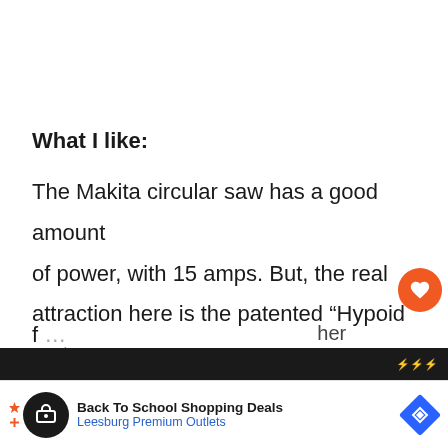What I like:
The Makita circular saw has a good amount of power, with 15 amps. But, the real attraction here is the patented “Hypoid moto… which Makita says delivers more power and grip than traditional worm-drive motors… experience, the Hypoid motor does make the…